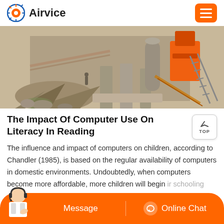Airvice
[Figure (photo): Construction site with concrete pillars, orange machinery, rubble and metal scaffolding]
The Impact Of Computer Use On Literacy In Reading
The influence and impact of computers on children, according to Chandler (1985), is based on the regular availability of computers in domestic environments. Undoubtedly, when computers become more affordable, more children will begin ir schooling already able to use a keyboard and a mouse b...
Message   Online Chat